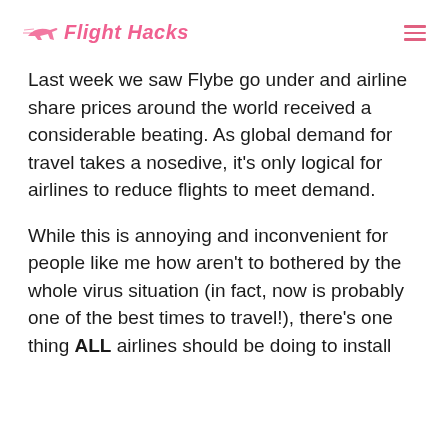Flight Hacks
Last week we saw Flybe go under and airline share prices around the world received a considerable beating. As global demand for travel takes a nosedive, it's only logical for airlines to reduce flights to meet demand.
While this is annoying and inconvenient for people like me how aren't to bothered by the whole virus situation (in fact, now is probably one of the best times to travel!), there's one thing ALL airlines should be doing to install